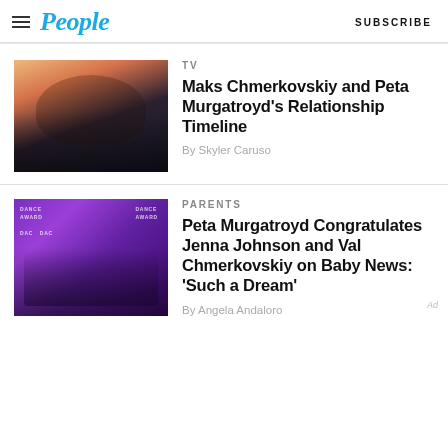People | SUBSCRIBE
TV
Maks Chmerkovskiy and Peta Murgatroyd's Relationship Timeline
By Skyler Caruso
[Figure (photo): A couple kissing at sunset, woman with sunglasses on head, man kissing her cheek, orange and blue sky background]
PARENTS
Peta Murgatroyd Congratulates Jenna Johnson and Val Chmerkovskiy on Baby News: 'Such a Dream'
By Angela Andaloro
[Figure (photo): Group photo of four people at Dance Awards event with purple backdrop showing DAC and DANCE AWARDS logos]